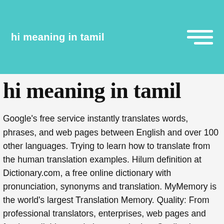hi meaning in tamil
hi meaning in tamil
Google's free service instantly translates words, phrases, and web pages between English and over 100 other languages. Trying to learn how to translate from the human translation examples. Hilum definition at Dictionary.com, a free online dictionary with pronunciation, synonyms and translation. MyMemory is the world's largest Translation Memory. Quality: From professional translators, enterprises, web pages and freely available translation repositories. Quality: Learn more. Reference: Anonymous, Last Update: 2019-10-26 Check out our list of Tamil baby Girl names